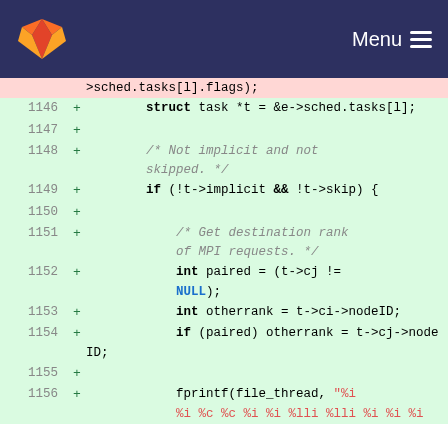[Figure (screenshot): GitLab navigation header with fox logo and Menu button on dark blue background]
>sched.tasks[l].flags);
1146 + struct task *t = &e->sched.tasks[l];
1147 +
1148 + /* Not implicit and not skipped. */
1149 + if (!t->implicit && !t->skip) {
1150 +
1151 + /* Get destination rank of MPI requests. */
1152 + int paired = (t->cj != NULL);
1153 + int otherrank = t->ci->nodeID;
1154 + if (paired) otherrank = t->cj->nodeID;
1155 +
1156 + fprintf(file_thread, "%i %i %c %c %i %i %lli %lli %i %i %i